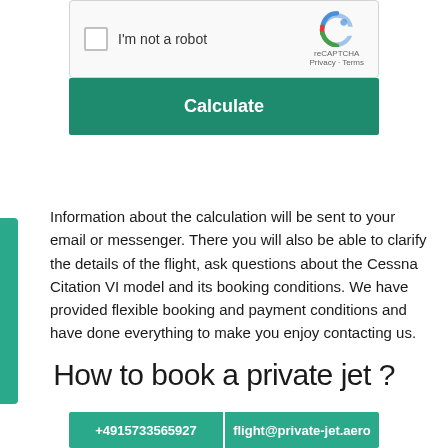[Figure (screenshot): reCAPTCHA widget with checkbox labeled 'I'm not a robot' and reCAPTCHA logo with Privacy - Terms text]
Calculate
Information about the calculation will be sent to your email or messenger. There you will also be able to clarify the details of the flight, ask questions about the Cessna Citation VI model and its booking conditions. We have provided flexible booking and payment conditions and have done everything to make you enjoy contacting us.
How to book a private jet ?
+4915733565927 | flight@private-jet.aero